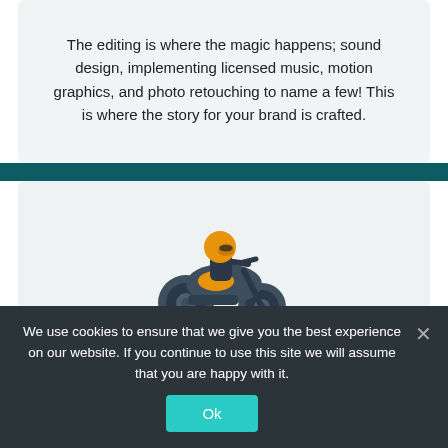The editing is where the magic happens; sound design, implementing licensed music, motion graphics, and photo retouching to name a few! This is where the story for your brand is crafted.
[Figure (illustration): Illustration of a person riding a motorcycle, wearing an orange helmet, with the motorcycle in dark teal/grey tones and orange accents.]
Deliver
We use cookies to ensure that we give you the best experience on our website. If you continue to use this site we will assume that you are happy with it.